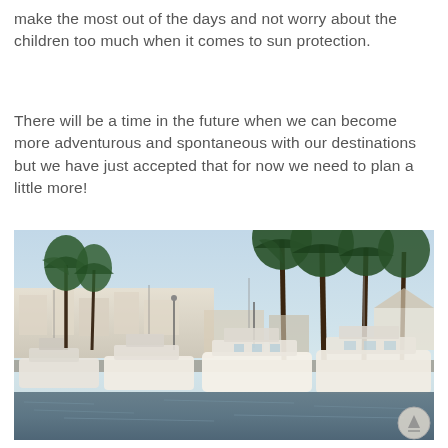make the most out of the days and not worry about the children too much when it comes to sun protection.
There will be a time in the future when we can become more adventurous and spontaneous with our destinations but we have just accepted that for now we need to plan a little more!
[Figure (photo): A marina with multiple white boats and yachts docked in calm water, with tall palm trees lining the waterfront and white Mediterranean-style buildings in the background, photographed in warm evening light.]